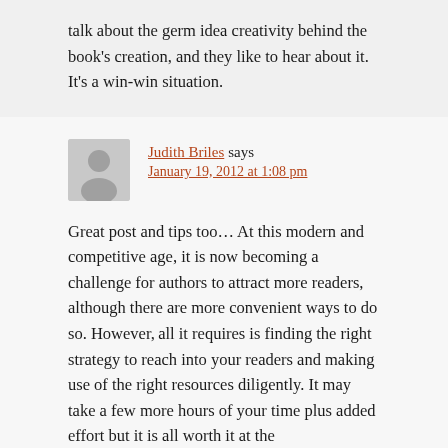talk about the germ idea creativity behind the book's creation, and they like to hear about it. It's a win-win situation.
Judith Briles says January 19, 2012 at 1:08 pm
Great post and tips too... At this modern and competitive age, it is now becoming a challenge for authors to attract more readers, although there are more convenient ways to do so. However, all it requires is finding the right strategy to reach into your readers and making use of the right resources diligently. It may take a few more hours of your time plus added effort but it is all worth it at the